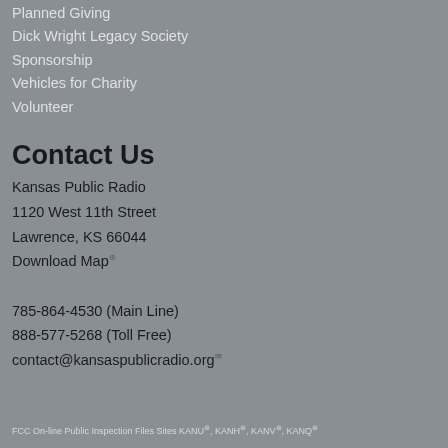Planned Giving
Dick Wright Legacy Society
Sponsorship
Vehicles for Charity
Volunteer
Contact Us
Kansas Public Radio
1120 West 11th Street
Lawrence, KS 66044
Download Map
785-864-4530 (Main Line)
888-577-5268 (Toll Free)
contact@kansaspublicradio.org
FCC On-line Public Inspection Files Sites KANU, KANH, KANV, KANQ